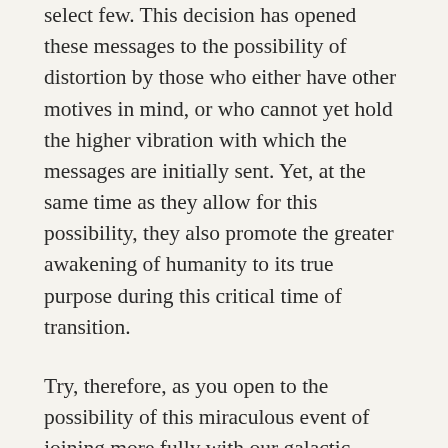select few. This decision has opened these messages to the possibility of distortion by those who either have other motives in mind, or who cannot yet hold the higher vibration with which the messages are initially sent. Yet, at the same time as they allow for this possibility, they also promote the greater awakening of humanity to its true purpose during this critical time of transition.

Try, therefore, as you open to the possibility of this miraculous event of joining more fully with our galactic family, to release projections from the past based on fear. Rather, open in trust to those who seek only the good of the Divine unfoldment of all beings, and who wish to assist the Earth...